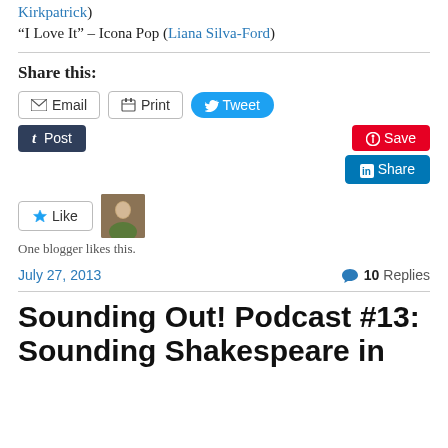Kirkpatrick)
“I Love It” – Icona Pop (Liana Silva-Ford)
Share this:
[Figure (infographic): Social share buttons: Email, Print, Tweet, Post (Tumblr), Save (Pinterest), Share (LinkedIn)]
[Figure (infographic): Like button with star icon, and a small avatar photo thumbnail]
One blogger likes this.
July 27, 2013   10 Replies
Sounding Out! Podcast #13: Sounding Shakespeare in